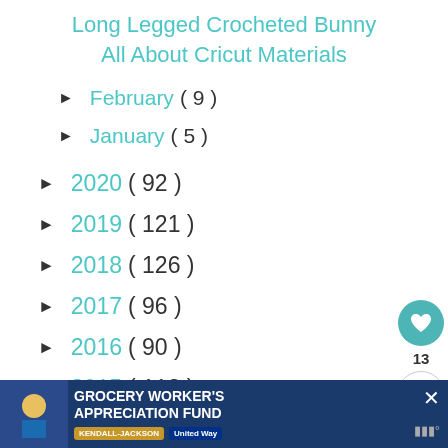Long Legged Crocheted Bunny
All About Cricut Materials
► February ( 9 )
► January ( 5 )
► 2020 ( 92 )
► 2019 ( 121 )
► 2018 ( 126 )
► 2017 ( 96 )
► 2016 ( 90 )
► 2015 ( 113 )
[Figure (infographic): Grocery Worker's Appreciation Fund ad banner with Kendall-Jackson and United Way logos]
[Figure (infographic): Floating action buttons: heart/like button with count 13 and share button]